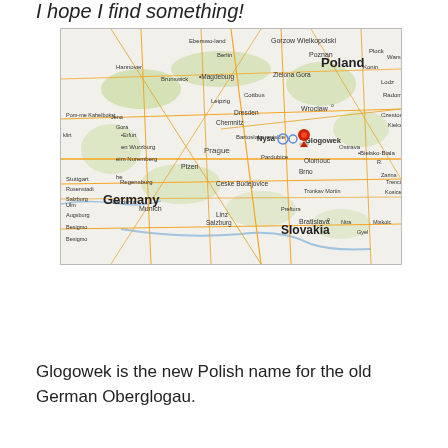I hope I find something!
[Figure (map): Google Maps screenshot showing central Europe with countries Germany, Poland, Slovakia visible. A red pin marker is placed at Glogowek, Poland, near Nysa. Blue circle markers also near Nysa/Glogowek area.]
Glogowek is the new Polish name for the old German Oberglogau.